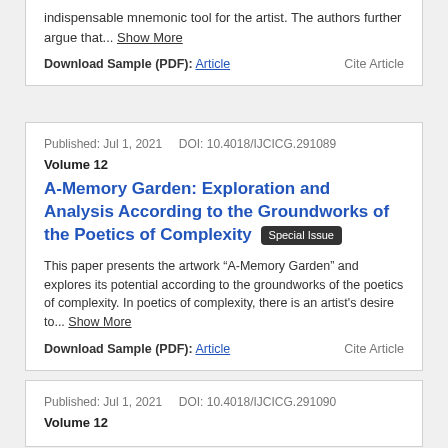indispensable mnemonic tool for the artist. The authors further argue that... Show More
Download Sample (PDF): Article    Cite Article
Published: Jul 1, 2021    DOI: 10.4018/IJCICG.291089
Volume 12
A-Memory Garden: Exploration and Analysis According to the Groundworks of the Poetics of Complexity [Special Issue]
This paper presents the artwork “A-Memory Garden” and explores its potential according to the groundworks of the poetics of complexity. In poetics of complexity, there is an artist's desire to... Show More
Download Sample (PDF): Article    Cite Article
Published: Jul 1, 2021    DOI: 10.4018/IJCICG.291090
Volume 12